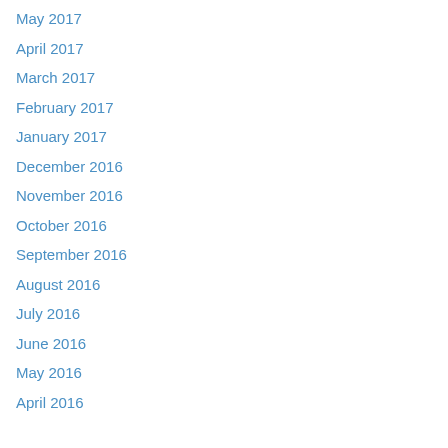May 2017
April 2017
March 2017
February 2017
January 2017
December 2016
November 2016
October 2016
September 2016
August 2016
July 2016
June 2016
May 2016
April 2016